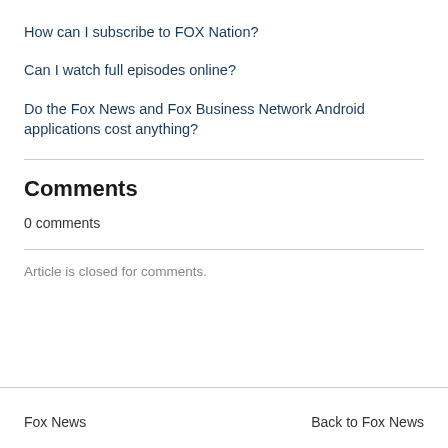How can I subscribe to FOX Nation?
Can I watch full episodes online?
Do the Fox News and Fox Business Network Android applications cost anything?
Comments
0 comments
Article is closed for comments.
Fox News    Back to Fox News